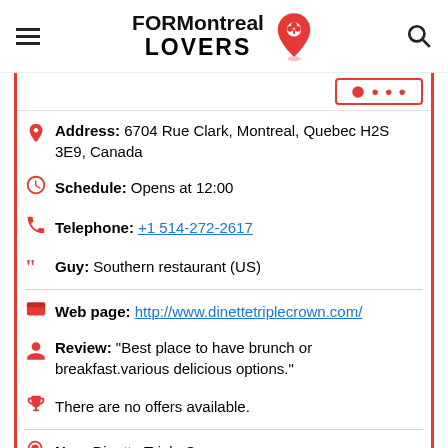FOR Montreal LOVERS
Address: 6704 Rue Clark, Montreal, Quebec H2S 3E9, Canada
Schedule: Opens at 12:00
Telephone: +1 514-272-2617
Guy: Southern restaurant (US)
Web page: http://www.dinettetriplecrown.com/
Review: "Best place to have brunch or breakfast.various delicious options."
There are no offers available.
Near Dinette Triple Crown:
a 18 meters away car workshop: Garage Auto